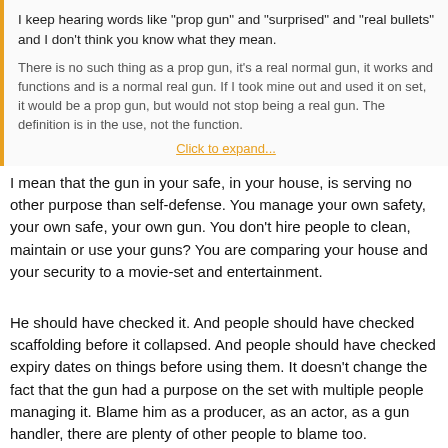I keep hearing words like "prop gun" and "surprised" and "real bullets" and I don't think you know what they mean.
There is no such thing as a prop gun, it's a real normal gun, it works and functions and is a normal real gun. If I took mine out and used it on set, it would be a prop gun, but would not stop being a real gun. The definition is in the use, not the function.
Click to expand...
I mean that the gun in your safe, in your house, is serving no other purpose than self-defense. You manage your own safety, your own safe, your own gun. You don't hire people to clean, maintain or use your guns? You are comparing your house and your security to a movie-set and entertainment.
He should have checked it. And people should have checked scaffolding before it collapsed. And people should have checked expiry dates on things before using them. It doesn't change the fact that the gun had a purpose on the set with multiple people managing it. Blame him as a producer, as an actor, as a gun handler, there are plenty of other people to blame too.